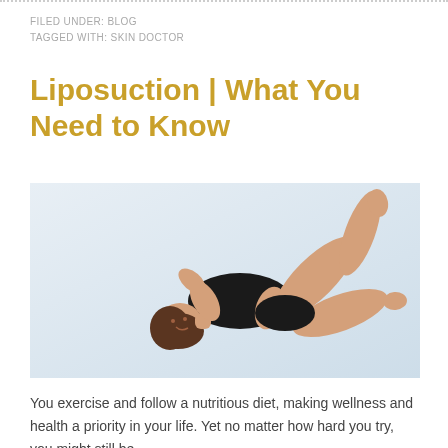FILED UNDER: BLOG
TAGGED WITH: SKIN DOCTOR
Liposuction | What You Need to Know
[Figure (photo): A young woman in a black swimsuit lying on a light blue-white background, posing with one leg raised and hand behind head, showcasing her body shape.]
You exercise and follow a nutritious diet, making wellness and health a priority in your life. Yet no matter how hard you try, you might still be